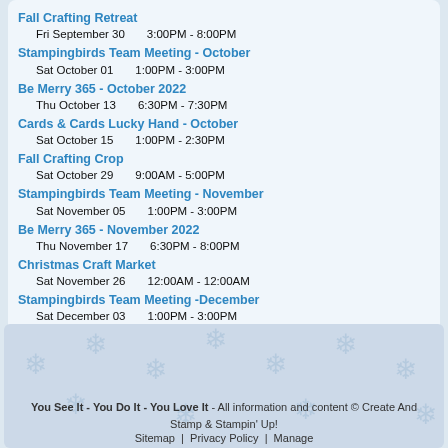Fall Crafting Retreat — Fri September 30 3:00PM - 8:00PM
Stampingbirds Team Meeting - October — Sat October 01 1:00PM - 3:00PM
Be Merry 365 - October 2022 — Thu October 13 6:30PM - 7:30PM
Cards & Cards Lucky Hand - October — Sat October 15 1:00PM - 2:30PM
Fall Crafting Crop — Sat October 29 9:00AM - 5:00PM
Stampingbirds Team Meeting - November — Sat November 05 1:00PM - 3:00PM
Be Merry 365 - November 2022 — Thu November 17 6:30PM - 8:00PM
Christmas Craft Market — Sat November 26 12:00AM - 12:00AM
Stampingbirds Team Meeting -December — Sat December 03 1:00PM - 3:00PM
You See It - You Do It - You Love It - All information and content © Create And Stamp & Stampin' Up! Sitemap | Privacy Policy | Manage